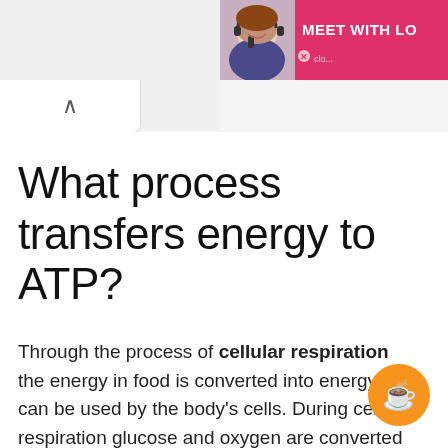[Figure (illustration): Advertisement banner in top right: woman with headset smiling, pink/red background with hearts, text 'MEET WITH L...' and logo icon]
What process transfers energy to ATP?
Through the process of cellular respiration the energy in food is converted into energy that can be used by the body's cells. During cellular respiration glucose and oxygen are converted into carbon dioxide and water and